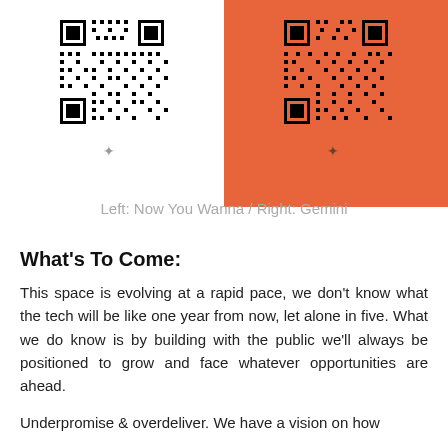[Figure (other): Two QR codes side by side. Left QR code on white background. Right QR code on orange (#E8643A) background. Both have small arrow/bird icons below them.]
Left: Now You Wanna / Right: Gemini
What's To Come:
This space is evolving at a rapid pace, we don't know what the tech will be like one year from now, let alone in five. What we do know is by building with the public we'll always be positioned to grow and face whatever opportunities are ahead.
Underpromise & overdeliver. We have a vision on how